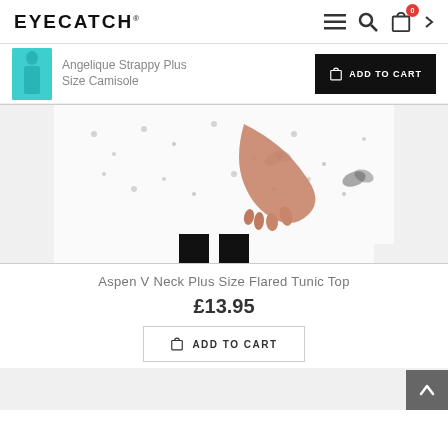EYECATCH
[Figure (screenshot): Sticky header bar showing thumbnail of Angelique Strappy Plus Size Camisole in teal, product title, and black ADD TO CART button]
[Figure (photo): Close-up of Aspen V Neck Plus Size Flared Tunic Top — white floral/butterfly print fabric with scalloped hem, model's hand shown, black trousers visible below]
Aspen V Neck Plus Size Flared Tunic Top
£13.95
ADD TO CART
[Figure (screenshot): Bottom strip showing next product thumbnail area in light grey with a dark grey back-to-top arrow button on the right]